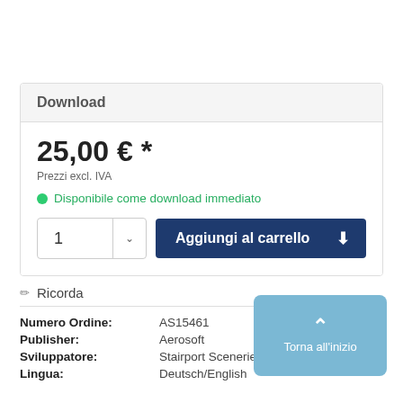Download
25,00 € *
Prezzi excl. IVA
Disponibile come download immediato
1  Aggiungi al carrello
Ricorda
| Label | Value |
| --- | --- |
| Numero Ordine: | AS15461 |
| Publisher: | Aerosoft |
| Sviluppatore: | Stairport Sceneries, Scenery TR |
| Lingua: | Deutsch/English |
Torna all'inizio